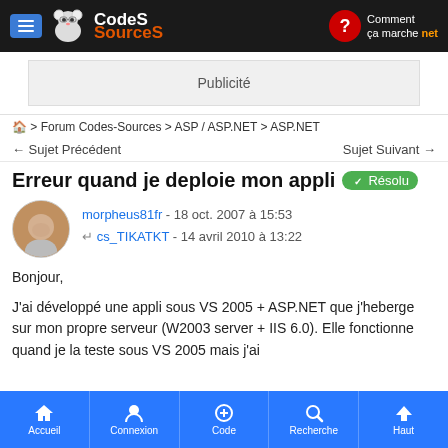CodeS-SourceS | Comment ça marche .net
[Figure (other): Advertisement placeholder box labeled Publicité]
🏠 > Forum Codes-Sources > ASP / ASP.NET > ASP.NET
← Sujet Précédent    Sujet Suivant →
Erreur quand je deploie mon appli ✓ Résolu
morpheus81fr - 18 oct. 2007 à 15:53
↵ cs_TIKATKT - 14 avril 2010 à 13:22
Bonjour,

J'ai développé une appli sous VS 2005 + ASP.NET que j'heberge sur mon propre serveur (W2003 server + IIS 6.0). Elle fonctionne quand je la teste sous VS 2005 mais j'ai
Accueil | Connexion | Code | Recherche | Haut